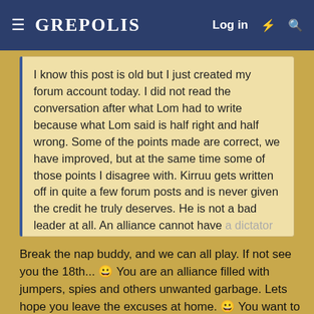≡ GREPOLIS  Log in ⚡ 🔍
I know this post is old but I just created my forum account today. I did not read the conversation after what Lom had to write because what Lom said is half right and half wrong. Some of the points made are correct, we have improved, but at the same time some of those points I disagree with. Kirruu gets written off in quite a few forum posts and is never given the credit he truly deserves. He is not a bad leader at all. An alliance cannot have a dictator and be supposed to succeed at the same time. It takes a council Click to expand...
Break the nap buddy, and we can all play. If not see you the 18th... 🙂 You are an alliance filled with jumpers, spies and others unwanted garbage. Lets hope you leave the excuses at home. 🙂 You want to let your armies do the talking, lets go. Rather fight it out then watch you guys pick up refugee after refugee. Try to move up into 44, under premise of a nap. Even your diplomat left cause he couldnt stand it. WHAT DOES THAT SAY ABOUT YOUR ALLIANCE???